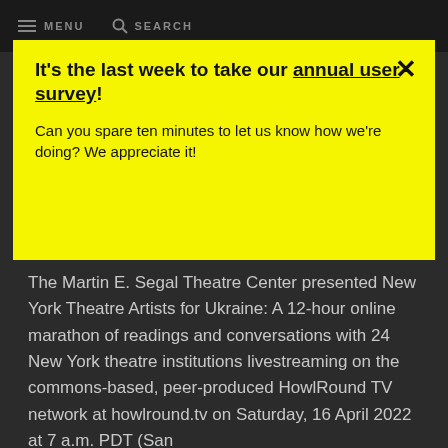MENU   SEARCH
It's the last week to take our annual user survey!
Can you spare ten minutes to let us know how we're doing? We appreciate it!
The Martin E. Segal Theatre Center presented New York Theatre Artists for Ukraine: A 12-hour online marathon of readings and conversations with 24 New York theatre institutions livestreaming on the commons-based, peer-produced HowlRound TV network at howlround.tv on Saturday, 16 April 2022 at 7 a.m. PDT (San